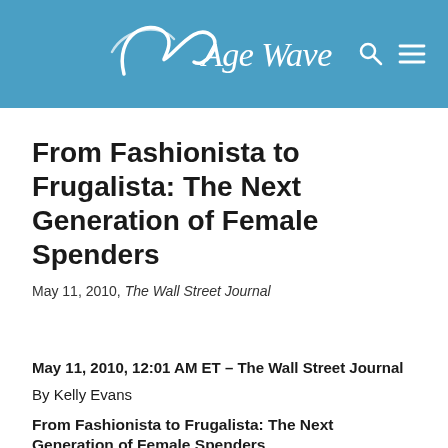[Figure (logo): Age Wave logo with wave graphic on blue background, search icon and hamburger menu icon on right]
From Fashionista to Frugalista: The Next Generation of Female Spenders
May 11, 2010, The Wall Street Journal
May 11, 2010, 12:01 AM ET – The Wall Street Journal
By Kelly Evans
From Fashionista to Frugalista: The Next Generation of Female Spenders
In case the disappointing release of last year's